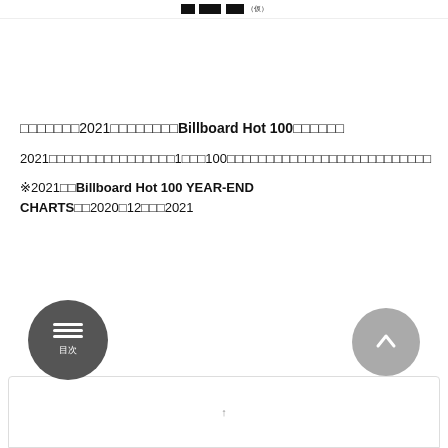ｗｗｗ．伝説組．ｃｏｍ　ビルボード２０２１年号外
□□□□□□□2021□□□□□□□□Billboard Hot 100□□□□□□
2021□□□□□□□□□□□□□□□□1□□□100□□□□□□□□□□□□□□□□□□□□□□□□□□
※2021□□Billboard Hot 100 YEAR-END CHARTS□□2020□12□□□2021□1□□1□□□□□□□□□□□□□□□□□□□